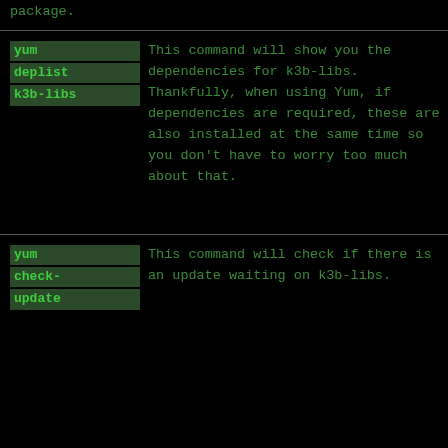package.
yum deplist k3b-libs — This command will show you the dependencies for k3b-libs. Thankfully, when using Yum, if dependencies are required, these are also installed at the same time so you don't have to worry too much about that.
yum check-update — This command will check if there is an update waiting on k3b-libs.